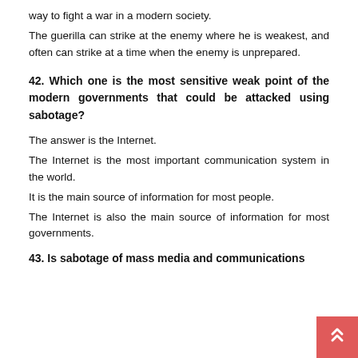way to fight a war in a modern society.
The guerilla can strike at the enemy where he is weakest, and often can strike at a time when the enemy is unprepared.
42. Which one is the most sensitive weak point of the modern governments that could be attacked using sabotage?
The answer is the Internet.
The Internet is the most important communication system in the world.
It is the main source of information for most people.
The Internet is also the main source of information for most governments.
43. Is sabotage of mass media and communications